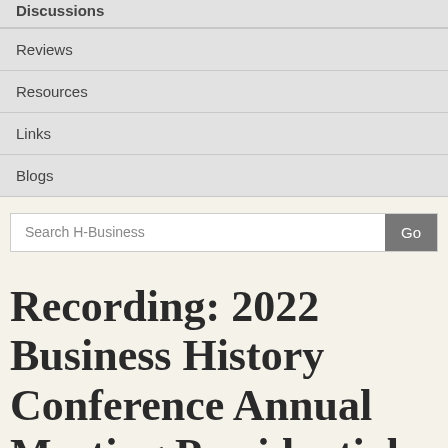Discussions
Reviews
Resources
Links
Blogs
Search H-Business Go
Recording: 2022 Business History Conference Annual Meeting Presidential Address